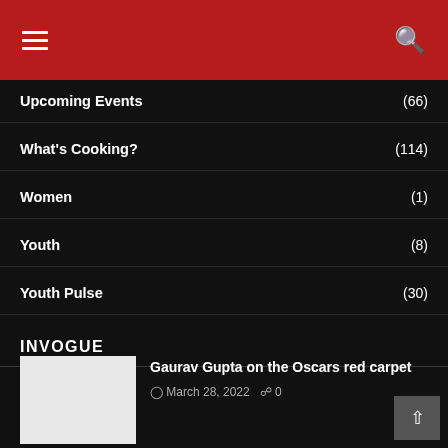Navigation header with hamburger menu and search icon
Upcoming Events (66)
What's Cooking? (114)
Women (1)
Youth (8)
Youth Pulse (30)
INVOGUE
Gaurav Gupta on the Oscars red carpet
March 28, 2022  0
Saree, not sorry!
February 17, 2022  0